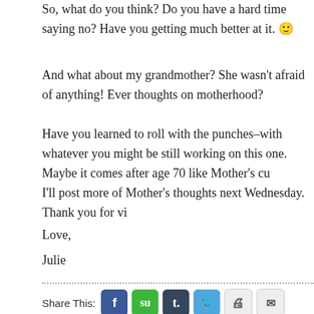So, what do you think? Do you have a hard time saying no? Have you getting much better at it. 🙂
And what about my grandmother? She wasn't afraid of anything! Ever thoughts on motherhood?
Have you learned to roll with the punches–with whatever you might be still working on this one. Maybe it comes after age 70 like Mother's cu
I'll post more of Mother's thoughts next Wednesday. Thank you for vi
Love,
Julie
Share This: [Facebook] [StumbleUpon] [Tumblr] [Twitter] [Print] [Email]
Filed Under: Being a Mom, Friendships and Mother/Daughter Relationships, aging, all things heart and home blog, Guideposts, Marion Bond West
Comments